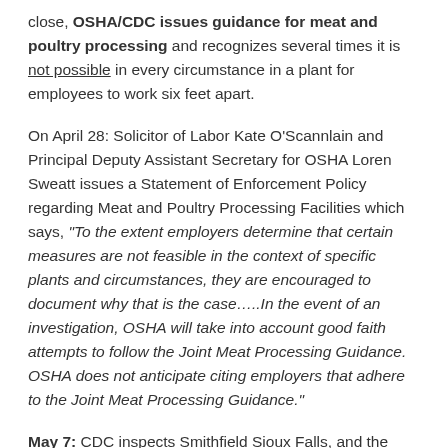close, OSHA/CDC issues guidance for meat and poultry processing and recognizes several times it is not possible in every circumstance in a plant for employees to work six feet apart.
On April 28: Solicitor of Labor Kate O'Scannlain and Principal Deputy Assistant Secretary for OSHA Loren Sweatt issues a Statement of Enforcement Policy regarding Meat and Poultry Processing Facilities which says, "To the extent employers determine that certain measures are not feasible in the context of specific plants and circumstances, they are encouraged to document why that is the case.....In the event of an investigation, OSHA will take into account good faith attempts to follow the Joint Meat Processing Guidance. OSHA does not anticipate citing employers that adhere to the Joint Meat Processing Guidance."
May 7: CDC inspects Smithfield Sioux Falls, and the plant resumes full operation by May 11.